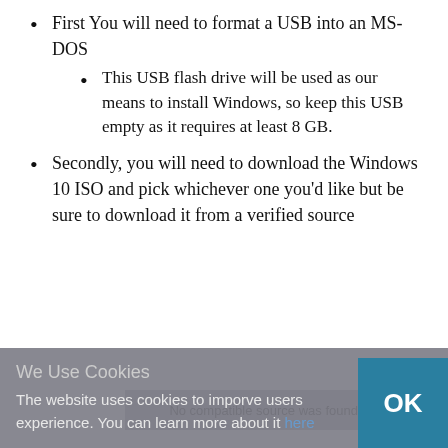First You will need to format a USB into an MS-DOS
This USB flash drive will be used as our means to install Windows, so keep this USB empty as it requires at least 8 GB.
Secondly, you will need to download the Windows 10 ISO and pick whichever one you'd like but be sure to download it from a verified source
No compatible source was found for this
We Use Cookies
The website uses cookies to imporve users experience. You can learn more about it here